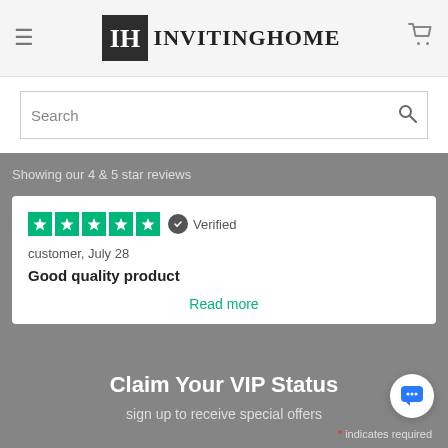[Figure (logo): InvitingHome logo with IH monogram in dark box and hamburger menu and cart icons]
Search
Showing our 4 & 5 star reviews
[Figure (other): 5 green star rating with Verified badge, customer review card: 'customer, July 28 / Good quality product / Read more']
Claim Your VIP Status
sign up to receive special offers
* indicates required